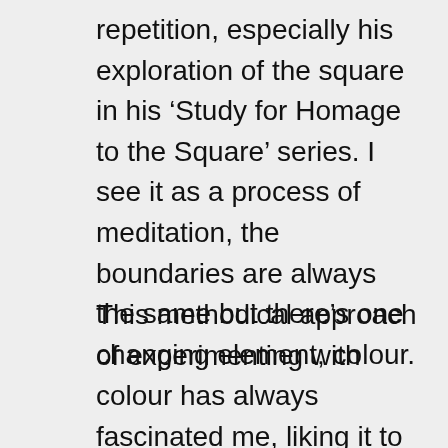repetition, especially his exploration of the square in his ‘Study for Homage to the Square’ series. I see it as a process of meditation, the boundaries are always the same but there’s one changing element; colour.
This methodical approach of experimenting with colour has always fascinated me, liking it to one that an industrial designer might use to create a colour palette. This is partly why I was drawn to the work of Audrey Esarey, a